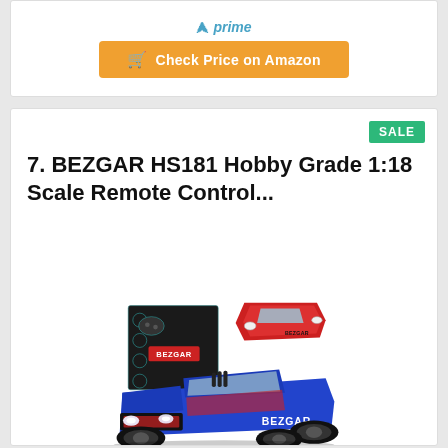[Figure (logo): Amazon Prime logo with arrow and italic 'prime' text in blue]
[Figure (other): Orange 'Check Price on Amazon' button with cart icon]
SALE
7. BEZGAR HS181 Hobby Grade 1:18 Scale Remote Control...
[Figure (photo): Product photo of BEZGAR HS181 RC car in blue, with product box and a red body shell variant shown above]